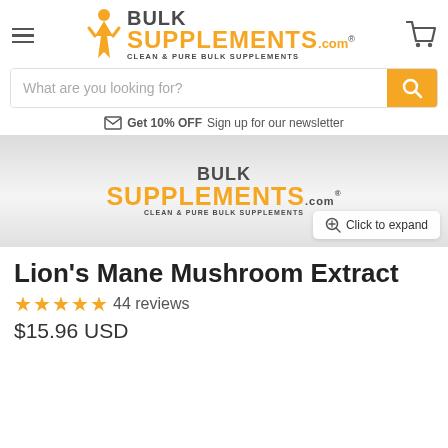[Figure (logo): BulkSupplements.com logo with orange figure, BULK in dark gray, SUPPLEMENTS in orange, tagline CLEAN & PURE BULK SUPPLEMENTS]
[Figure (screenshot): Search bar with placeholder text 'What are you looking for?' and orange search button]
Get 10% OFF Sign up for our newsletter
[Figure (photo): Product image showing BulkSupplements.com branding on a white container, with 'Click to expand' button overlay]
Lion's Mane Mushroom Extract
44 reviews
$15.96 USD